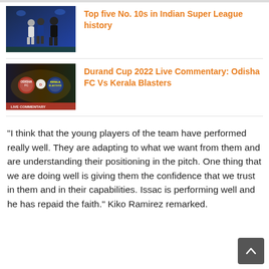[Figure (photo): Thumbnail image of two football players, silhouetted against blue stadium background]
Top five No. 10s in Indian Super League history
[Figure (photo): Thumbnail showing Odisha FC vs Kerala Blasters Durand Cup 2022 Live Commentary graphic with team logos on a dark stadium background]
Durand Cup 2022 Live Commentary: Odisha FC Vs Kerala Blasters
“I think that the young players of the team have performed really well. They are adapting to what we want from them and are understanding their positioning in the pitch. One thing that we are doing well is giving them the confidence that we trust in them and in their capabilities. Issac is performing well and he has repaid the faith.” Kiko Ramirez remarked.